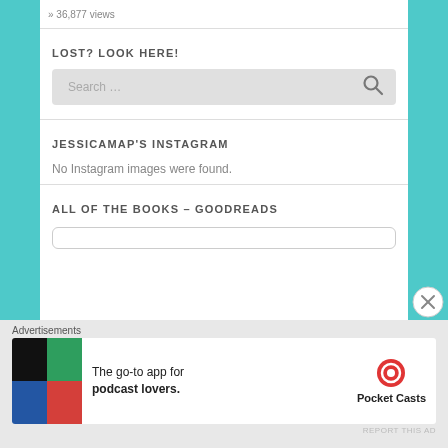» 36,877 views
LOST? LOOK HERE!
[Figure (screenshot): Search box with placeholder text 'Search ...' and a magnifying glass icon on a light grey background]
JESSICAMAP'S INSTAGRAM
No Instagram images were found.
ALL OF THE BOOKS – GOODREADS
Advertisements
[Figure (screenshot): Pocket Casts advertisement: colourful tile logo, text 'The go-to app for podcast lovers.' with Pocket Casts logo]
REPORT THIS AD